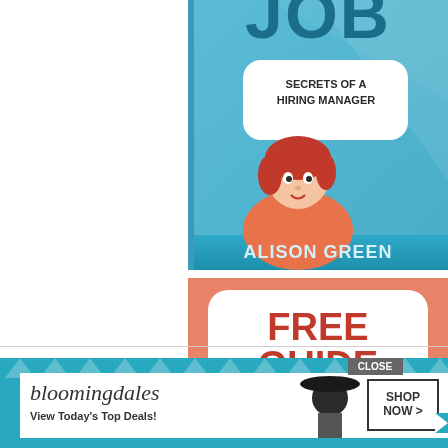[Figure (illustration): Book cover for 'Secrets of a Hiring Manager' by Alison Green. Blue cover with cartoon redhead peeking up, speech bubble saying 'SECRETS OF A HIRING MANAGER', large 'JOB' text at top, author name 'ALISON GREEN' at bottom in teal/blue band.]
[Figure (illustration): Salmon/coral colored promotional banner with white rounded rectangle containing orange bold text 'FREE GUIDE' and black text below 'HOW TO PREPARE FOR AN INTERVIEW'.]
[Figure (illustration): Bloomingdales advertisement banner. Teal background with triangle/chevron pattern, Bloomingdales logo in cursive, text 'View Today's Top Deals!', woman in hat, and 'SHOP NOW >' button. Top right shows 'CLOSE' button.]